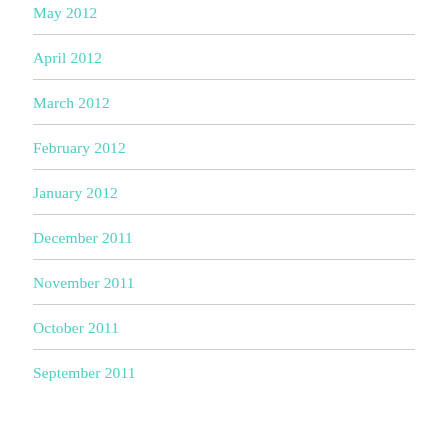May 2012
April 2012
March 2012
February 2012
January 2012
December 2011
November 2011
October 2011
September 2011